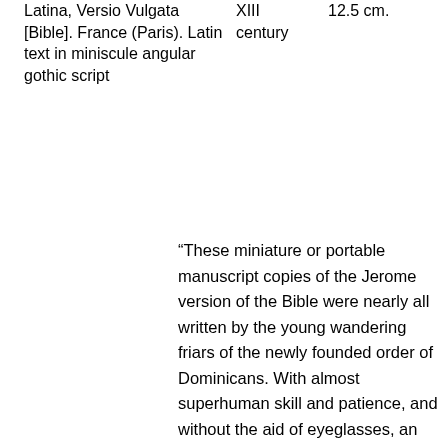| Latina, Versio Vulgata [Bible]. France (Paris). Latin text in miniscule angular gothic script | XIII century | 12.5 cm. |
“These miniature or portable manuscript copies of the Jerome version of the Bible were nearly all written by the young wandering friars of the newly founded order of Dominicans. With almost superhuman skill and patience, and without the aid of eyeglasses, an amazing number of these small Bibles were